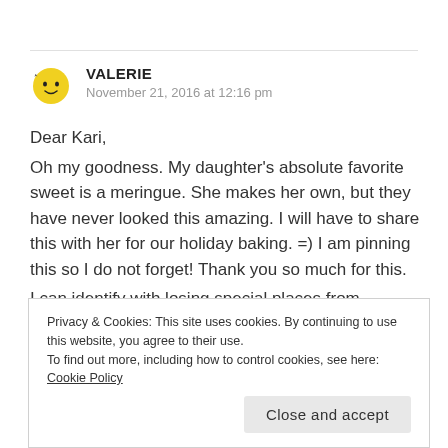VALERIE
November 21, 2016 at 12:16 pm

Dear Kari,
Oh my goodness. My daughter's absolute favorite sweet is a meringue. She makes her own, but they have never looked this amazing. I will have to share this with her for our holiday baking. =) I am pinning this so I do not forget! Thank you so much for this.
I can identify with losing special places from
Privacy & Cookies: This site uses cookies. By continuing to use this website, you agree to their use.
To find out more, including how to control cookies, see here: Cookie Policy
Close and accept